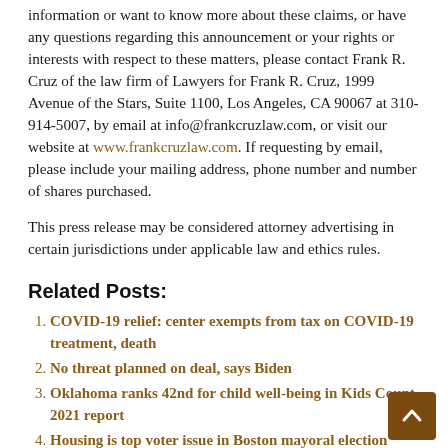information or want to know more about these claims, or have any questions regarding this announcement or your rights or interests with respect to these matters, please contact Frank R. Cruz of the law firm of Lawyers for Frank R. Cruz, 1999 Avenue of the Stars, Suite 1100, Los Angeles, CA 90067 at 310-914-5007, by email at info@frankcruzlaw.com, or visit our website at www.frankcruzlaw.com. If requesting by email, please include your mailing address, phone number and number of shares purchased.
This press release may be considered attorney advertising in certain jurisdictions under applicable law and ethics rules.
Related Posts:
COVID-19 relief: center exempts from tax on COVID-19 treatment, death
No threat planned on deal, says Biden
Oklahoma ranks 42nd for child well-being in Kids Count 2021 report
Housing is top voter issue in Boston mayoral election